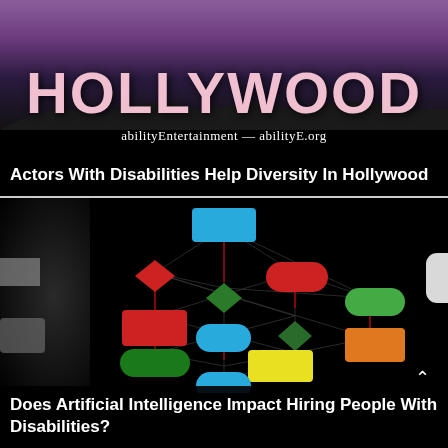[Figure (photo): Top card: Hollywood sign on hill with purple/pink sky background, with text 'abilityEntertainment — abilityE.org' below the sign image]
Actors With Disabilities Help Diversity In Hollywood
[Figure (flowchart): Bottom card: Black background with a face silhouette on the left, overlaid with a colorful flowchart/network diagram featuring connected nodes in blue, red, green, orange, and yellow shapes (rectangles, diamonds, rounded rectangles) with crisscrossing connector lines]
Does Artificial Intelligence Impact Hiring People With Disabilities?